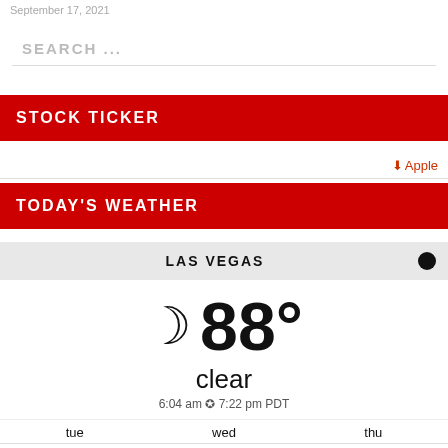September 17, 2021
SEARCH ...
STOCK TICKER
↓ Apple
TODAY'S WEATHER
LAS VEGAS
[Figure (infographic): Weather widget showing 88° clear conditions for Las Vegas with a crescent moon icon, sunrise at 6:04 am and sunset at 7:22 pm PDT, and a 3-day forecast for tue (108/84°F), wed (100/81°F), thu (97/81°F) with sun icons.]